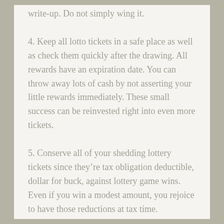write-up. Do not simply wing it.
4. Keep all lotto tickets in a safe place as well as check them quickly after the drawing. All rewards have an expiration date. You can throw away lots of cash by not asserting your little rewards immediately. These small success can be reinvested right into even more tickets.
5. Conserve all of your shedding lottery tickets since they’re tax obligation deductible, dollar for buck, against lottery game wins. Even if you win a modest amount, you rejoice to have those reductions at tax time.
6. If you wish to start winning sooner rather than later on, invest the more of your lottery